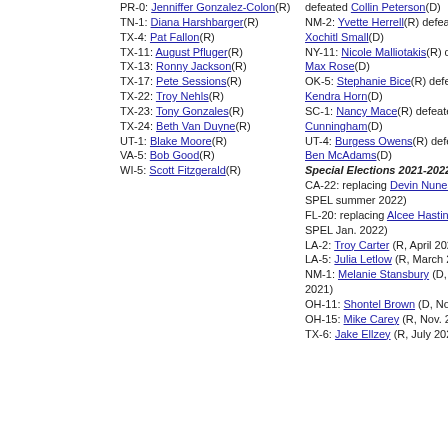PR-0: Jenniffer Gonzalez-Colon(R)
TN-1: Diana Harshbarger(R)
TX-4: Pat Fallon(R)
TX-11: August Pfluger(R)
TX-13: Ronny Jackson(R)
TX-17: Pete Sessions(R)
TX-22: Troy Nehls(R)
TX-23: Tony Gonzales(R)
TX-24: Beth Van Duyne(R)
UT-1: Blake Moore(R)
VA-5: Bob Good(R)
WI-5: Scott Fitzgerald(R)
defeated Collin Peterson(D)
NM-2: Yvette Herrell(R) defeated Xochitl Small(D)
NY-11: Nicole Malliotakis(R) defeated Max Rose(D)
OK-5: Stephanie Bice(R) defeated Kendra Horn(D)
SC-1: Nancy Mace(R) defeated Joe Cunningham(D)
UT-4: Burgess Owens(R) defeated Ben McAdams(D)
Special Elections 2021-2022:
CA-22: replacing Devin Nunes (R, SPEL summer 2022)
FL-20: replacing Alcee Hastings (D, SPEL Jan. 2022)
LA-2: Troy Carter (R, April 2021)
LA-5: Julia Letlow (R, March 2021)
NM-1: Melanie Stansbury (D, June 2021)
OH-11: Shontel Brown (D, Nov. 2021)
OH-15: Mike Carey (R, Nov. 2021)
TX-6: Jake Ellzey (R, July 2021)